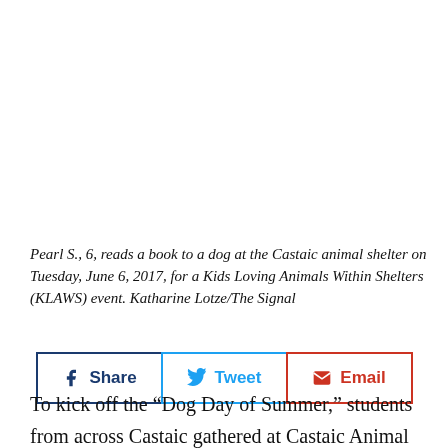Pearl S., 6, reads a book to a dog at the Castaic animal shelter on Tuesday, June 6, 2017, for a Kids Loving Animals Within Shelters (KLAWS) event. Katharine Lotze/The Signal
[Figure (other): Social sharing buttons: Share (Facebook), Tweet (Twitter), Email]
To kick off the “Dog Day of Summer,” students from across Castaic gathered at Castaic Animal Shelter